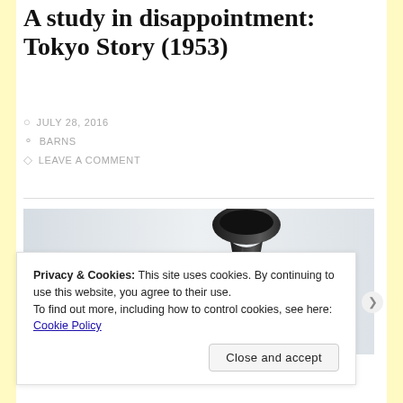A study in disappointment: Tokyo Story (1953)
JULY 28, 2016
BARNS
LEAVE A COMMENT
[Figure (photo): A dark ceramic sake flask or vase, hourglass-shaped, photographed against a light grey background.]
Privacy & Cookies: This site uses cookies. By continuing to use this website, you agree to their use.
To find out more, including how to control cookies, see here: Cookie Policy
Close and accept